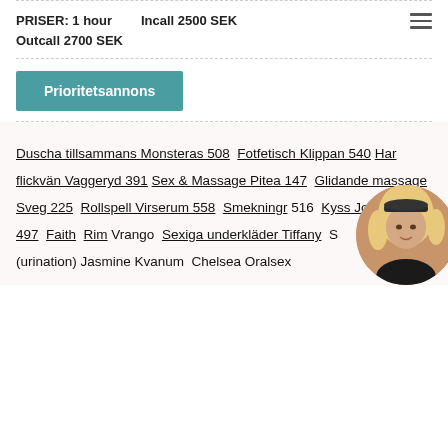PRISER: 1 hour   Incall 2500 SEK
Outcall 2700 SEK
Prioritetsannons
Duscha tillsammans Monsteras 508  Fotfetisch Klippan 540  Har flickvän Vaggeryd 391  Sex & Massage Pitea 147  Glidande massage Sveg 225  Rollspell Virserum 558  Smekning 516  Kyss Jokkmokk 497  Faith  Rim Vrango  Sexiga underkläder Tiffany  S (urination) Jasmine Kvanum  Chelsea Oralsex